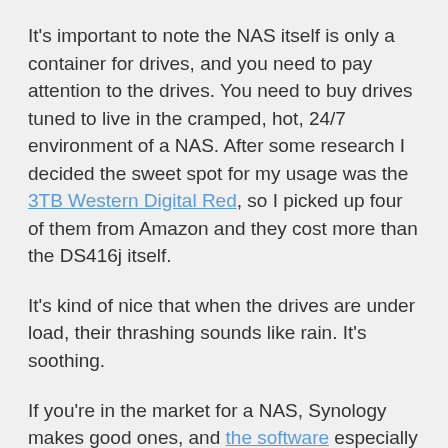It's important to note the NAS itself is only a container for drives, and you need to pay attention to the drives. You need to buy drives tuned to live in the cramped, hot, 24/7 environment of a NAS. After some research I decided the sweet spot for my usage was the 3TB Western Digital Red, so I picked up four of them from Amazon and they cost more than the DS416j itself.
It's kind of nice that when the drives are under load, their thrashing sounds like rain. It's soothing.
If you're in the market for a NAS, Synology makes good ones, and the software especially is impressive. If you're in the market for a light-usage home NAS that will be used mostly as a backup target and media file server, the DS416j is a nice product.
Note: Amazon links are affiliate links. If you purchase something through them I get a tiny kickback. It